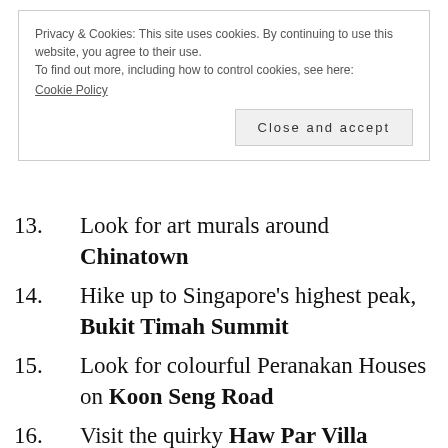Privacy & Cookies: This site uses cookies. By continuing to use this website, you agree to their use.
To find out more, including how to control cookies, see here:
Cookie Policy
Close and accept
13. Look for art murals around Chinatown
14. Hike up to Singapore's highest peak, Bukit Timah Summit
15. Look for colourful Peranakan Houses on Koon Seng Road
16. Visit the quirky Haw Par Villa
17. Walk across the TreeTop Walk in the Central Catchment Nature Reserve
18. Visit Singapore Botanic Gardens, the